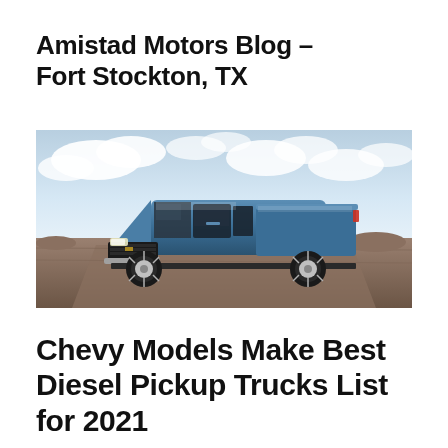Amistad Motors Blog – Fort Stockton, TX
[Figure (photo): Blue Chevrolet pickup truck parked on a desert road with a cloudy sky and arid landscape in the background.]
Chevy Models Make Best Diesel Pickup Trucks List for 2021